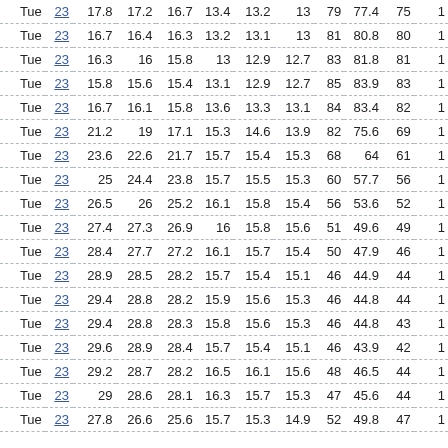| Day | Link | T1 | T2 | T3 | T4 | T5 | T6 | H1 | H2 | H3 | ... |
| --- | --- | --- | --- | --- | --- | --- | --- | --- | --- | --- | --- |
| Tue | 23 | 17.8 | 17.2 | 16.7 | 13.4 | 13.2 | 13 | 79 | 77.4 | 75 | 1 |
| Tue | 23 | 16.7 | 16.4 | 16.3 | 13.2 | 13.1 | 13 | 81 | 80.8 | 80 | 1 |
| Tue | 23 | 16.3 | 16 | 15.8 | 13 | 12.9 | 12.7 | 83 | 81.8 | 81 | 1 |
| Tue | 23 | 15.8 | 15.6 | 15.4 | 13.1 | 12.9 | 12.7 | 85 | 83.9 | 83 | 1 |
| Tue | 23 | 16.7 | 16.1 | 15.8 | 13.6 | 13.3 | 13.1 | 84 | 83.4 | 82 | 1 |
| Tue | 23 | 21.2 | 19 | 17.1 | 15.3 | 14.6 | 13.9 | 82 | 75.6 | 69 | 1 |
| Tue | 23 | 23.6 | 22.6 | 21.7 | 15.7 | 15.4 | 15.3 | 68 | 64 | 61 | 1 |
| Tue | 23 | 25 | 24.4 | 23.8 | 15.7 | 15.5 | 15.3 | 60 | 57.7 | 56 | 1 |
| Tue | 23 | 26.5 | 26 | 25.2 | 16.1 | 15.8 | 15.4 | 56 | 53.6 | 52 | 1 |
| Tue | 23 | 27.4 | 27.3 | 26.9 | 16 | 15.8 | 15.6 | 51 | 49.6 | 49 | 1 |
| Tue | 23 | 28.4 | 27.7 | 27.2 | 16.1 | 15.7 | 15.4 | 50 | 47.9 | 46 | 1 |
| Tue | 23 | 28.9 | 28.5 | 28.2 | 15.7 | 15.4 | 15.1 | 46 | 44.9 | 44 | 1 |
| Tue | 23 | 29.4 | 28.8 | 28.2 | 15.9 | 15.6 | 15.3 | 46 | 44.8 | 44 | 1 |
| Tue | 23 | 29.4 | 28.8 | 28.3 | 15.8 | 15.6 | 15.3 | 46 | 44.8 | 43 | 1 |
| Tue | 23 | 29.6 | 28.9 | 28.4 | 15.7 | 15.4 | 15.1 | 46 | 43.9 | 42 | 1 |
| Tue | 23 | 29.2 | 28.7 | 28.2 | 16.5 | 16.1 | 15.6 | 48 | 46.5 | 44 | 1 |
| Tue | 23 | 29 | 28.6 | 28.1 | 16.3 | 15.7 | 15.3 | 47 | 45.6 | 44 | 1 |
| Tue | 23 | 27.8 | 26.6 | 25.6 | 15.7 | 15.3 | 14.9 | 52 | 49.8 | 47 | 1 |